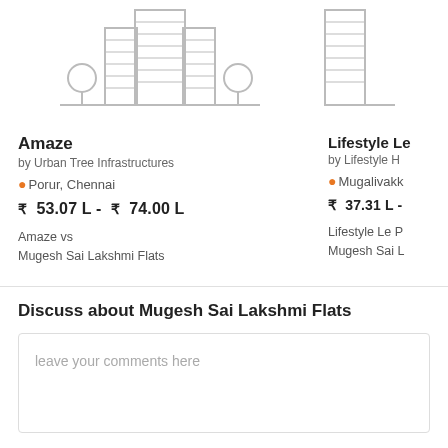[Figure (illustration): Building/apartment complex icon with trees on both sides, line art style, grey color]
[Figure (illustration): Partial building icon on the right side, cropped]
Amaze
by Urban Tree Infrastructures
Porur, Chennai
₹ 53.07 L - ₹ 74.00 L
Amaze vs
Mugesh Sai Lakshmi Flats
Lifestyle Le
by Lifestyle H
Mugalivakk
₹ 37.31 L -
Lifestyle Le P
Mugesh Sai L
Discuss about Mugesh Sai Lakshmi Flats
leave your comments here